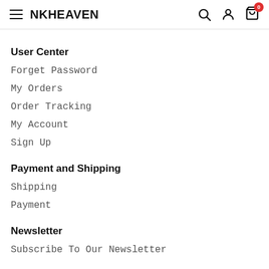NKHEAVEN
User Center
Forget Password
My Orders
Order Tracking
My Account
Sign Up
Payment and Shipping
Shipping
Payment
Newsletter
Subscribe To Our Newsletter